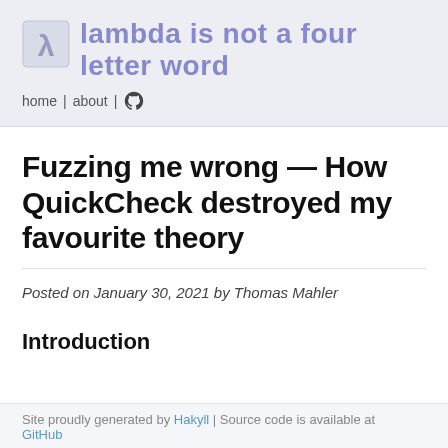lambda is not a four letter word — home | about | GitHub
Fuzzing me wrong — How QuickCheck destroyed my favourite theory
Posted on January 30, 2021 by Thomas Mahler
Introduction
Site proudly generated by Hakyll | Source code is available at GitHub